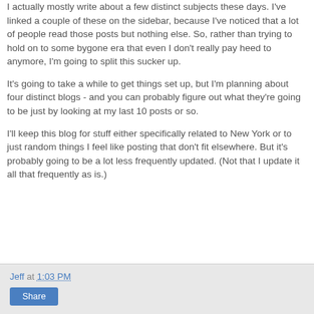I actually mostly write about a few distinct subjects these days. I've linked a couple of these on the sidebar, because I've noticed that a lot of people read those posts but nothing else. So, rather than trying to hold on to some bygone era that even I don't really pay heed to anymore, I'm going to split this sucker up.
It's going to take a while to get things set up, but I'm planning about four distinct blogs - and you can probably figure out what they're going to be just by looking at my last 10 posts or so.
I'll keep this blog for stuff either specifically related to New York or to just random things I feel like posting that don't fit elsewhere. But it's probably going to be a lot less frequently updated. (Not that I update it all that frequently as is.)
Jeff at 1:03 PM  Share